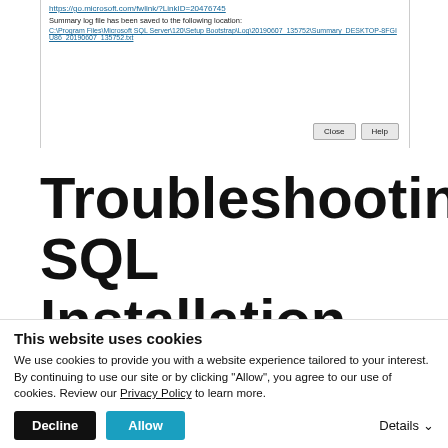[Figure (screenshot): SQL Server setup dialog showing a summary log file path link and Close/Help buttons at bottom right]
Troubleshooting SQL Installation
Setup Account Privileges: Failed
This website uses cookies
We use cookies to provide you with a website experience tailored to your interest. By continuing to use our site or by clicking "Allow", you agree to our use of cookies. Review our Privacy Policy to learn more.